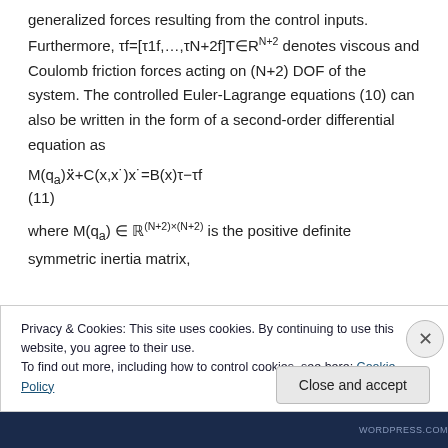generalized forces resulting from the control inputs. Furthermore, τf=[τ1f,…,τN+2f]T∈RN+2 denotes viscous and Coulomb friction forces acting on (N+2) DOF of the system. The controlled Euler-Lagrange equations (10) can also be written in the form of a second-order differential equation as
where M(qa) ∈ ℝ(N+2)×(N+2) is the positive definite symmetric inertia matrix,
Privacy & Cookies: This site uses cookies. By continuing to use this website, you agree to their use.
To find out more, including how to control cookies, see here: Cookie Policy